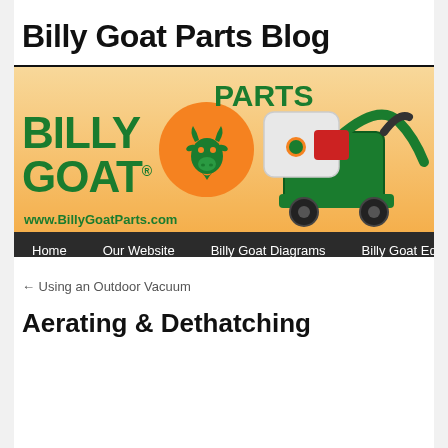Billy Goat Parts Blog
[Figure (logo): Billy Goat Parts banner with logo featuring a green goat head on orange circle, green text 'BILLY GOAT PARTS', website URL www.BillyGoatParts.com, and an image of outdoor power equipment (leaf vacuum/blower machine). Navigation bar below with links: Home, Our Website, Billy Goat Diagrams, Billy Goat Equipment]
← Using an Outdoor Vacuum
Aerating & Dethatching